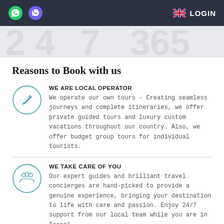WhatsApp | Viber | LOGIN
Reasons to Book with us
WE ARE LOCAL OPERATOR
We operate our own tours - Creating seamless journeys and complete itineraries, we offer private guided tours and luxury custom vacations throughout our country. Also, we offer budget group tours for individual tourists.
WE TAKE CARE OF YOU
Our expert guides and brilliant travel concierges are hand-picked to provide a genuine experience, bringing your destination to life with care and passion. Enjoy 24/7 support from our local team while you are in Israel.
WE ARE TRUSTED
Our track record speaks for itself. We have hosted a variety of guests from all walks of life and hold an